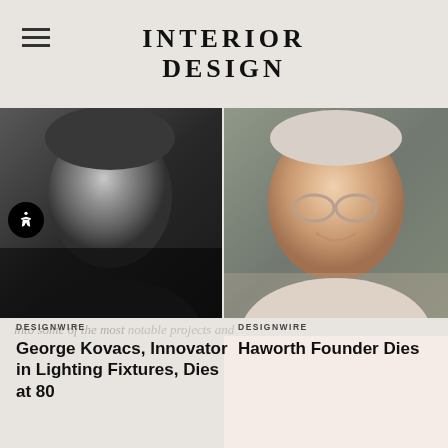INTERIOR DESIGN
[Figure (photo): Black and white portrait photo of George Kovacs, an older man]
[Figure (photo): Color portrait photo of Haworth founder, an older man with glasses and a smile]
DESIGNWIRE
George Kovacs, Innovator in Lighting Fixtures, Dies at 80
DESIGNWIRE
Haworth Founder Dies